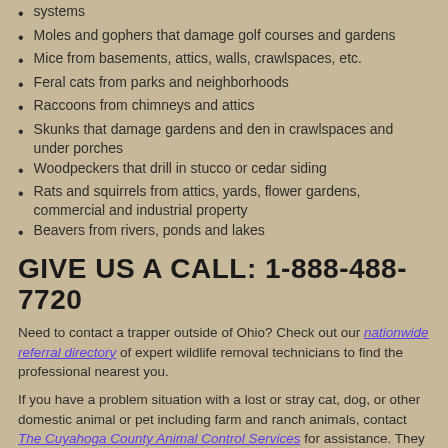systems
Moles and gophers that damage golf courses and gardens
Mice from basements, attics, walls, crawlspaces, etc.
Feral cats from parks and neighborhoods
Raccoons from chimneys and attics
Skunks that damage gardens and den in crawlspaces and under porches
Woodpeckers that drill in stucco or cedar siding
Rats and squirrels from attics, yards, flower gardens, commercial and industrial property
Beavers from rivers, ponds and lakes
GIVE US A CALL: 1-888-488-7720
Need to contact a trapper outside of Ohio? Check out our nationwide referral directory of expert wildlife removal technicians to find the professional nearest you.
If you have a problem situation with a lost or stray cat, dog, or other domestic animal or pet including farm and ranch animals, contact The Cuyahoga County Animal Control Services for assistance. They work with domestic animals and